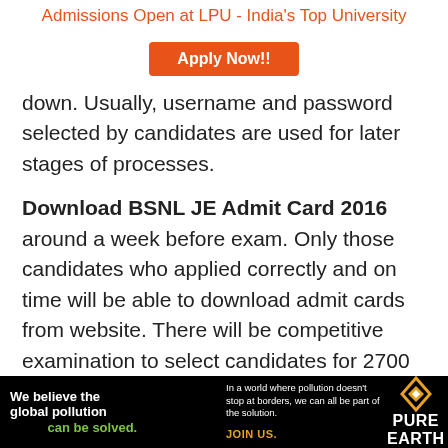Admissions Open at LPU - India's Top University
[Figure (other): Orange 'Apply Now!!' button for LPU admissions]
down. Usually, username and password selected by candidates are used for later stages of processes.
Download BSNL JE Admit Card 2016 around a week before exam. Only those candidates who applied correctly and on time will be able to download admit cards from website. There will be competitive examination to select candidates for 2700 vacancies of Junior Engineers in Bharat Sanchar Nigam Limited.
Candidates can visit this page and official website of
[Figure (other): Pure Earth advertisement banner with text: We believe the global pollution crisis can be solved. In a world where pollution doesn't stop at borders, we can all be part of the solution. JOIN US. Pure Earth logo with diamond shape.]